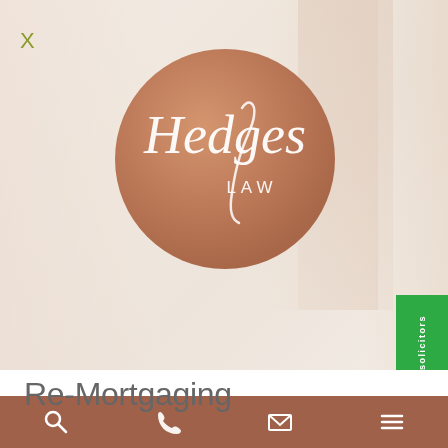[Figure (logo): Hedges Law logo - copper/rose-gold colored circle with white script text reading 'Hedges' in cursive and 'LAW' in sans-serif below, on a warm cream background with curtain-like elements]
[Figure (screenshot): Green reviewsolicitors badge on the right side with white text 'reviewsolicitors' written vertically and a white feather/quill icon at the bottom]
Re-Mortgaging
[Figure (infographic): Brown/terracotta bottom navigation bar with search (magnifying glass), phone, email (envelope), and menu (hamburger) icons in white]